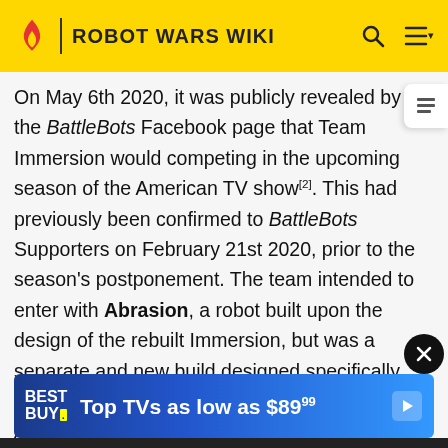ROBOT WARS WIKI
On May 6th 2020, it was publicly revealed by the BattleBots Facebook page that Team Immersion would competing in the upcoming season of the American TV show[2]. This had previously been confirmed to BattleBots Supporters on February 21st 2020, prior to the season's postponement. The team intended to enter with Abrasion, a robot built upon the design of the rebuilt Immersion, but was a separate and new build designed specifically for the 2020 season of BattleBots. Ultimately, Abrasion could not take part in the 2020 season due to travel restrictions imposed between the United Kingdom and the USA due to the ongoing pandemic, but Abrasion in a bat
[Figure (other): Best Buy advertisement banner: Top TVs as low as $89.99]